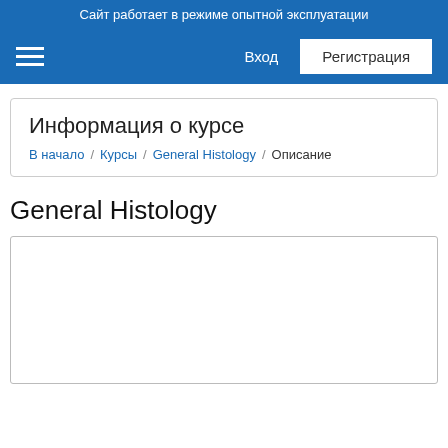Сайт работает в режиме опытной эксплуатации
Вход  Регистрация
Информация о курсе
В начало / Курсы / General Histology / Описание
General Histology
[Figure (other): Empty white content box with border]